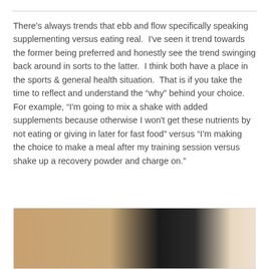There's always trends that ebb and flow specifically speaking supplementing versus eating real.  I've seen it trend towards the former being preferred and honestly see the trend swinging back around in sorts to the latter.  I think both have a place in the sports & general health situation.  That is if you take the time to reflect and understand the "why" behind your choice.  For example, "I'm going to mix a shake with added supplements because otherwise I won't get these nutrients by not eating or giving in later for fast food" versus "I'm making the choice to make a meal after my training session versus shake up a recovery powder and charge on."
[Figure (photo): Partial photo showing hands and a dark surface, likely food preparation related]